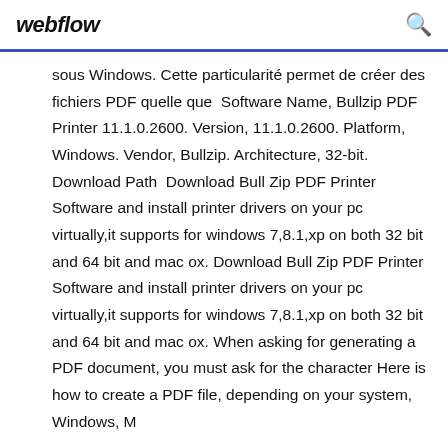webflow
sous Windows. Cette particularité permet de créer des fichiers PDF quelle que  Software Name, Bullzip PDF Printer 11.1.0.2600. Version, 11.1.0.2600. Platform, Windows. Vendor, Bullzip. Architecture, 32-bit. Download Path  Download Bull Zip PDF Printer Software and install printer drivers on your pc virtually,it supports for windows 7,8.1,xp on both 32 bit and 64 bit and mac ox. Download Bull Zip PDF Printer Software and install printer drivers on your pc virtually,it supports for windows 7,8.1,xp on both 32 bit and 64 bit and mac ox. When asking for generating a PDF document, you must ask for the character Here is how to create a PDF file, depending on your system, Windows, M...